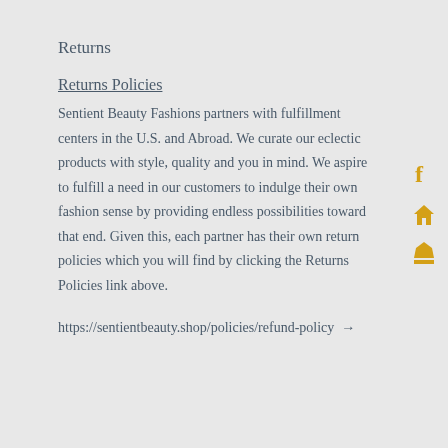Returns
Returns Policies
Sentient Beauty Fashions partners with fulfillment centers in the U.S. and Abroad. We curate our eclectic products with style, quality and you in mind. We aspire to fulfill a need in our customers to indulge their own fashion sense by providing endless possibilities toward that end. Given this, each partner has their own return policies which you will find by clicking the Returns Policies link above.
https://sentientbeauty.shop/policies/refund-policy →